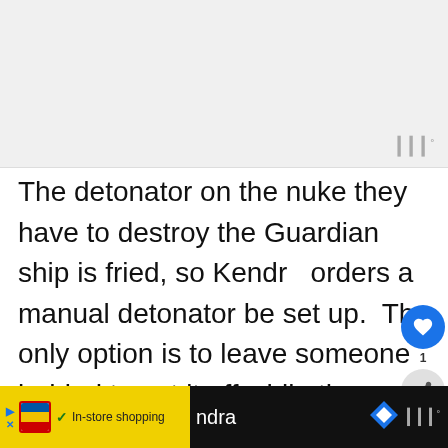[Figure (other): Gray advertisement banner placeholder at top of page with watermark-style triple bar icon in bottom right corner]
The detonator on the nuke they have to destroy the Guardian ship is fried, so Kendra orders a manual detonator be set up.  The only option is to leave someone behind to set it off while the rest get on an evacuation ship to return to Pegasus.  Kendra pulls a gun on
[Figure (screenshot): Mobile UI overlay showing heart/like button (blue circle), count badge showing 1, share button, and WHAT'S NEXT panel with Jersey Shore Premiere thumbnail]
[Figure (screenshot): Bottom advertisement bar showing Lidl ad with yellow background, In-store shopping text with checkmark, partial text in white, blue navigation diamond icon, and triple bar watermark]